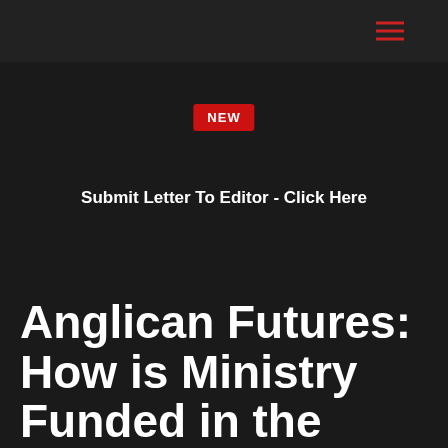NEW
Submit Letter To Editor - Click Here
Anglican Futures: How is Ministry Funded in the Church of England?